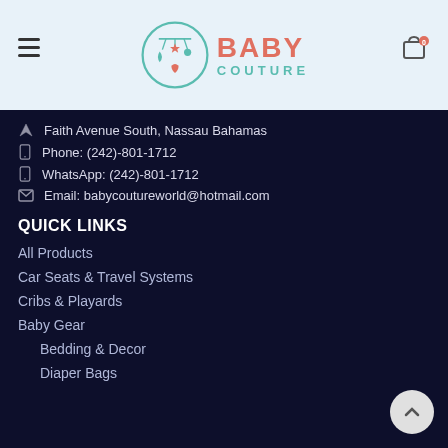Baby Couture
Faith Avenue South, Nassau Bahamas
Phone: (242)-801-1712
WhatsApp: (242)-801-1712
Email: babycoutureworld@hotmail.com
QUICK LINKS
All Products
Car Seats & Travel Systems
Cribs & Playards
Baby Gear
Bedding & Decor
Diaper Bags